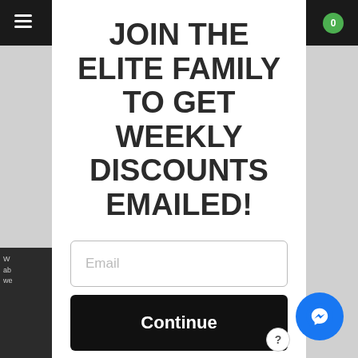JOIN THE ELITE FAMILY TO GET WEEKLY DISCOUNTS EMAILED!
Email
Continue
By signing up, you agree to receive